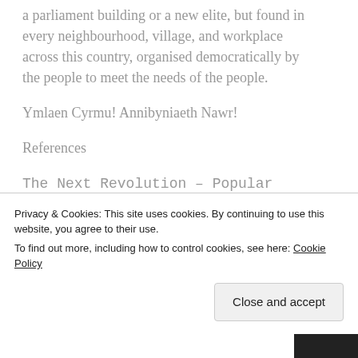a parliament building or a new elite, but found in every neighbourhood, village, and workplace across this country, organised democratically by the people to meet the needs of the people.
Ymlaen Cyrmu! Annibyniaeth Nawr!
References
The Next Revolution – Popular Assemblies & the Promise of Direct Democracy, Murray Bookchin, Verso, 2015
Privacy & Cookies: This site uses cookies. By continuing to use this website, you agree to their use. To find out more, including how to control cookies, see here: Cookie Policy
Close and accept